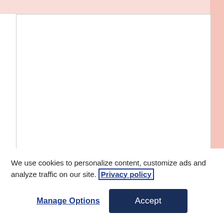[Figure (screenshot): Web form showing a comment textarea with a pink/salmon top bar, followed by Name, Email, and Website input fields]
We use cookies to personalize content, customize ads and analyze traffic on our site. Privacy policy
Manage Options
Accept